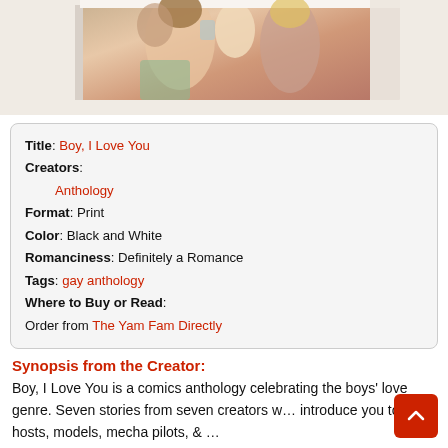[Figure (illustration): Partial view of a book or comic anthology cover showing illustrated characters in warm colors — peach, rose, brown, and green tones.]
| Title: | Boy, I Love You |
| Creators: |  |
|  | Anthology |
| Format: | Print |
| Color: | Black and White |
| Romanciness: | Definitely a Romance |
| Tags: | gay anthology |
| Where to Buy or Read: |  |
|  | Order from The Yam Fam Directly |
Synopsis from the Creator:
Boy, I Love You is a comics anthology celebrating the boys' love genre. Seven stories from seven creators w… introduce you to radio hosts, models, mecha pilots, & …